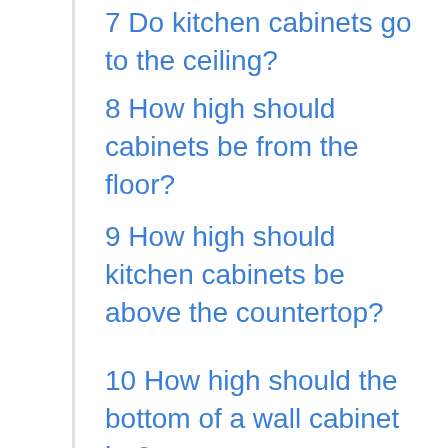7 Do kitchen cabinets go to the ceiling?
8 How high should cabinets be from the floor?
9 How high should kitchen cabinets be above the countertop?
10 How high should the bottom of a wall cabinet be?
11 What height should kitchen wall units be?
12 What is the best height for kitchen